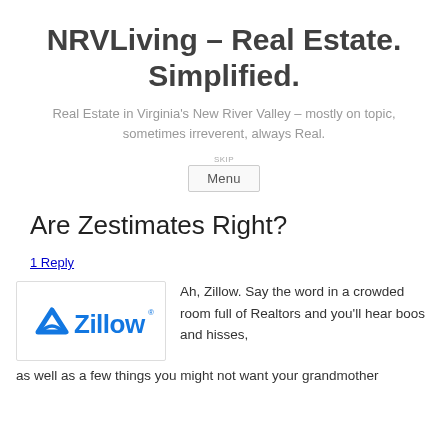NRVLiving – Real Estate. Simplified.
Real Estate in Virginia's New River Valley – mostly on topic, sometimes irreverent, always Real.
Menu
Are Zestimates Right?
1 Reply
[Figure (logo): Zillow logo: blue stylized chevron/roof icon followed by the word 'Zillow' in bold blue text]
Ah, Zillow. Say the word in a crowded room full of Realtors and you'll hear boos and hisses, as well as a few things you might not want your grandmother to hear. For all its...